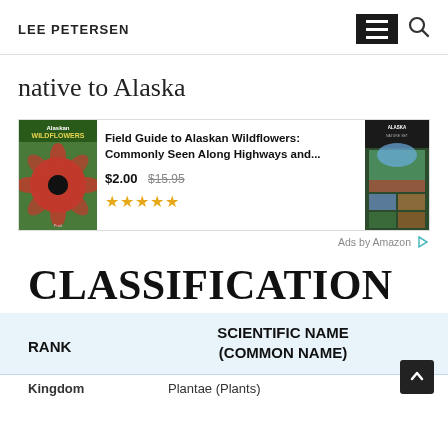LEE PETERSEN
native to Alaska
[Figure (screenshot): Amazon ad showing 'Field Guide to Alaskan Wildflowers: Commonly Seen Along Highways and...' priced at $2.00 (originally $15.95) with 5-star rating, book cover showing pink wildflower on left, second book cover on right]
Ads by Amazon
CLASSIFICATION
| RANK | SCIENTIFIC NAME (COMMON NAME) |
| --- | --- |
| Kingdom | Plantae (Plants) |